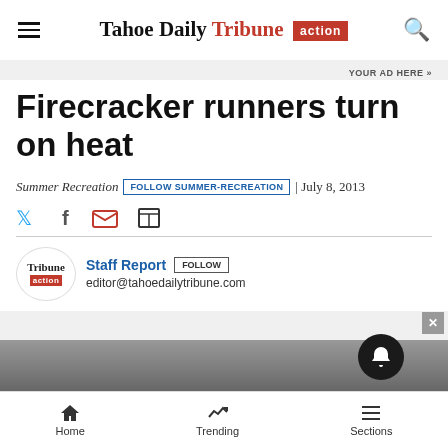Tahoe Daily Tribune action
YOUR AD HERE »
Firecracker runners turn on heat
Summer Recreation | FOLLOW SUMMER-RECREATION | July 8, 2013
Staff Report | FOLLOW | editor@tahoedailytribune.com
Home | Trending | Sections